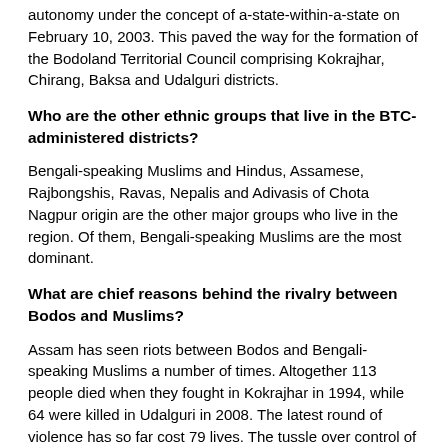autonomy under the concept of a-state-within-a-state on February 10, 2003. This paved the way for the formation of the Bodoland Territorial Council comprising Kokrajhar, Chirang, Baksa and Udalguri districts.
Who are the other ethnic groups that live in the BTC-administered districts?
Bengali-speaking Muslims and Hindus, Assamese, Rajbongshis, Ravas, Nepalis and Adivasis of Chota Nagpur origin are the other major groups who live in the region. Of them, Bengali-speaking Muslims are the most dominant.
What are chief reasons behind the rivalry between Bodos and Muslims?
Assam has seen riots between Bodos and Bengali-speaking Muslims a number of times. Altogether 113 people died when they fought in Kokrajhar in 1994, while 64 were killed in Udalguri in 2008. The latest round of violence has so far cost 79 lives. The tussle over control of land is attributed as the main cause of enmity. Bodos say most Muslim settlers